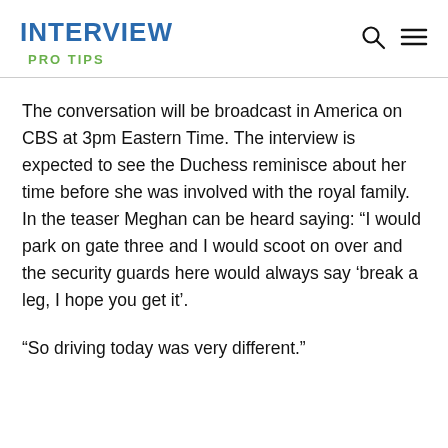INTERVIEW
PRO TIPS
The conversation will be broadcast in America on CBS at 3pm Eastern Time. The interview is expected to see the Duchess reminisce about her time before she was involved with the royal family. In the teaser Meghan can be heard saying: “I would park on gate three and I would scoot on over and the security guards here would always say ‘break a leg, I hope you get it’.
“So driving today was very different.”